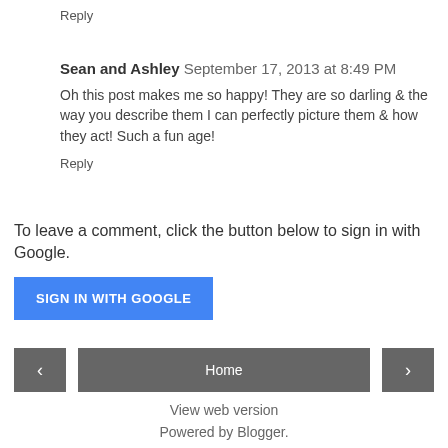Reply
Sean and Ashley  September 17, 2013 at 8:49 PM
Oh this post makes me so happy! They are so darling & the way you describe them I can perfectly picture them & how they act! Such a fun age!
Reply
To leave a comment, click the button below to sign in with Google.
SIGN IN WITH GOOGLE
Home
View web version
Powered by Blogger.